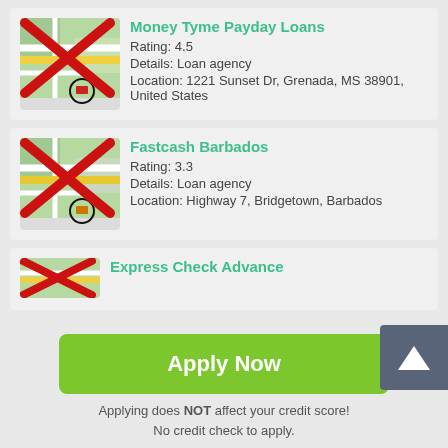[Figure (other): App listing: Money Tyme Payday Loans with map placeholder icon crossed out]
Money Tyme Payday Loans
Rating: 4.5
Details: Loan agency
Location: 1221 Sunset Dr, Grenada, MS 38901, United States
[Figure (other): App listing: Fastcash Barbados with map placeholder icon crossed out]
Fastcash Barbados
Rating: 3.3
Details: Loan agency
Location: Highway 7, Bridgetown, Barbados
[Figure (other): App listing: Express Check Advance with map placeholder icon crossed out (partially visible)]
Express Check Advance
Apply Now
Applying does NOT affect your credit score!
No credit check to apply.